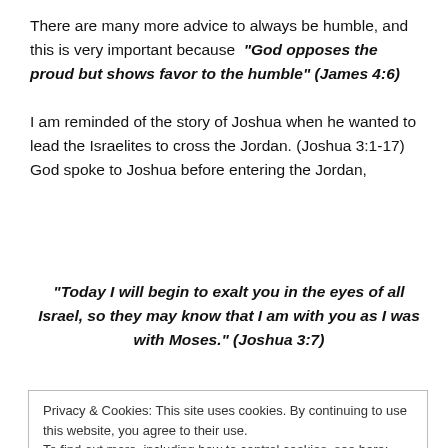There are many more advice to always be humble, and this is very important because "God opposes the proud but shows favor to the humble" (James 4:6)
I am reminded of the story of Joshua when he wanted to lead the Israelites to cross the Jordan. (Joshua 3:1-17) God spoke to Joshua before entering the Jordan,
"Today I will begin to exalt you in the eyes of all Israel, so they may know that I am with you as I was with Moses." (Joshua 3:7)
Privacy & Cookies: This site uses cookies. By continuing to use this website, you agree to their use. To find out more, including how to control cookies, see here: Cookie Policy